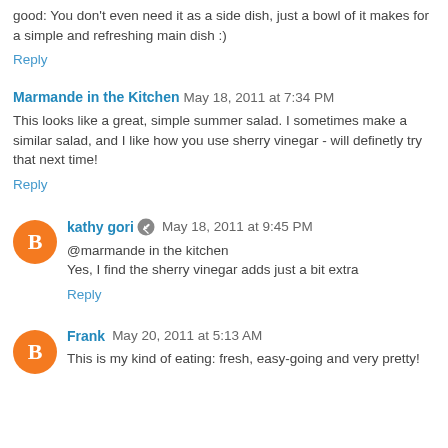good: You don't even need it as a side dish, just a bowl of it makes for a simple and refreshing main dish :)
Reply
Marmande in the Kitchen  May 18, 2011 at 7:34 PM
This looks like a great, simple summer salad. I sometimes make a similar salad, and I like how you use sherry vinegar - will definetly try that next time!
Reply
kathy gori  May 18, 2011 at 9:45 PM
@marmande in the kitchen
Yes, I find the sherry vinegar adds just a bit extra
Reply
Frank  May 20, 2011 at 5:13 AM
This is my kind of eating: fresh, easy-going and very pretty!